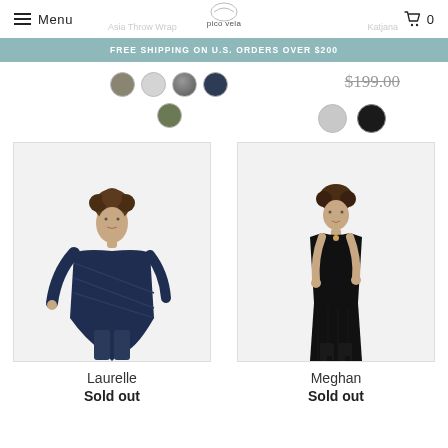Menu | pico vela | cart 0
FREE SHIPPING ON U.S. ORDERS OVER $200
Asia Throw Wrap
Katjana
[Figure (photo): Color swatches: taupe, white, gray texture, navy, and olive circles for product color selection]
$199.00 (strikethrough price)
[Figure (photo): Color swatches: silver and black circles for product color selection]
[Figure (photo): Laurelle - woman wearing navy blue diagonal-stripe throw wrap over dark jeans]
Laurelle
Sold out
[Figure (photo): Meghan - woman wearing all-black sleeveless long dress with black boots]
Meghan
Sold out